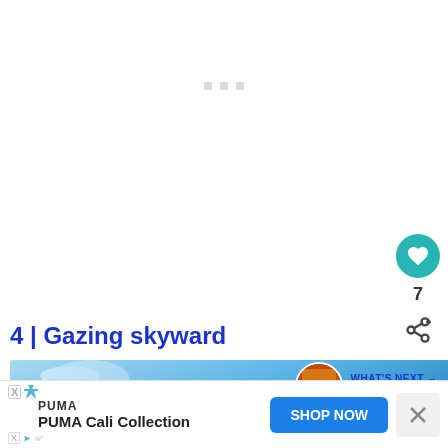[Figure (other): Loading indicator with three small grey square dots centered on white background]
[Figure (other): Teal circular heart/like button with heart icon]
7
[Figure (other): Share button icon (share/network symbol)]
4 | Gazing skyward
[Figure (photo): Blue sky with white clouds photo, used as section illustration. Overlaid with 'WHAT'S NEXT → TRAVEL BLOG' label with circular avatar.]
WHAT'S NEXT → TRAVEL BLOG
[Figure (other): Advertisement banner: PUMA Cali Collection with SHOP NOW button and close X button]